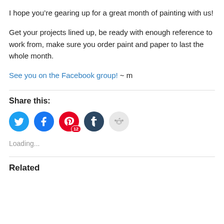I hope you’re gearing up for a great month of painting with us!
Get your projects lined up, be ready with enough reference to work from, make sure you order paint and paper to last the whole month.
See you on the Facebook group! ~ m
Share this:
[Figure (infographic): Social media share buttons: Twitter (blue bird), Facebook (blue f), Pinterest (red P with badge 12), Tumblr (dark blue t), Reddit (light grey alien)]
Loading...
Related